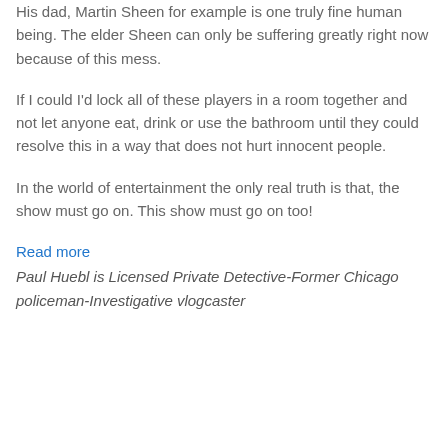His dad, Martin Sheen for example is one truly fine human being. The elder Sheen can only be suffering greatly right now because of this mess.
If I could I'd lock all of these players in a room together and not let anyone eat, drink or use the bathroom until they could resolve this in a way that does not hurt innocent people.
In the world of entertainment the only real truth is that, the show must go on. This show must go on too!
Read more
Paul Huebl is Licensed Private Detective-Former Chicago policeman-Investigative vlogcaster